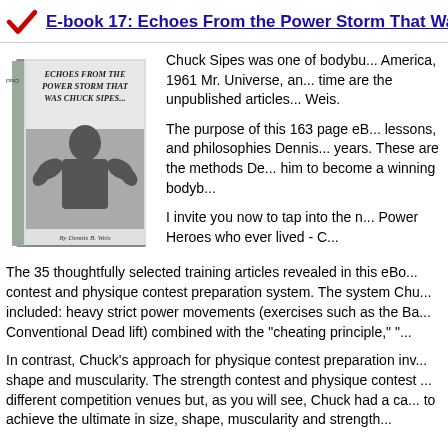E-book 17: Echoes From the Power Storm That Wa...
[Figure (illustration): Book cover showing 'Echoes From the Power Storm That Was Chuck Sipes...' by Dennis B. Weis, with a black and white photo of a muscular bodybuilder posing.]
Chuck Sipes was one of bodybu... America, 1961 Mr. Universe, an... time are the unpublished articles... Weis.
The purpose of this 163 page eB... lessons, and philosophies Dennis... years. These are the methods De... him to become a winning bodyb...
I invite you now to tap into the n... Power Heroes who ever lived - C...
The 35 thoughtfully selected training articles revealed in this eBo... contest and physique contest preparation system. The system Chu... included: heavy strict power movements (exercises such as the Ba... Conventional Dead lift) combined with the "cheating principle," "...
In contrast, Chuck's approach for physique contest preparation inv... shape and muscularity. The strength contest and physique contest ... different competition venues but, as you will see, Chuck had a ca... to achieve the ultimate in size, shape, muscularity and strength...